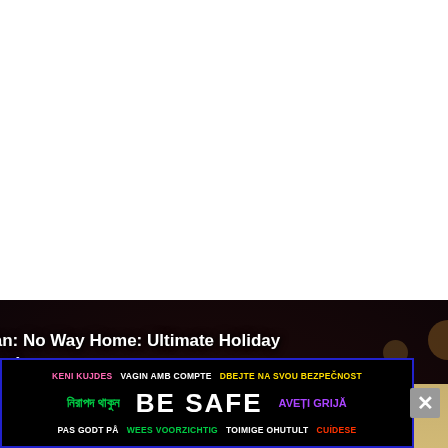[Figure (screenshot): Video thumbnail showing two people sitting together in a dark studio setting. White text overlay reads 'Spider-Man: No Way Home: Ultimate Holiday Movie (Spot)'. A circular play button is centered on the image.]
[Figure (infographic): Be Safe multilingual advertisement banner. Top row: 'KENI KUJDES' (pink), 'VAGIN AMB COMPTE' (white), 'DBEJTE NA SVOU BEZPEČNOST' (yellow). Middle row: Bengali text (green), 'BE SAFE' (large white bold), 'AVEȚI GRIJĂ' (purple). Bottom row: 'PAS GODT PÅ' (white), 'WEES VOORZICHTIG' (green), 'TOIMIGE OHUTULT' (white), 'CUÍDESE' (red). Blue border around ad.]